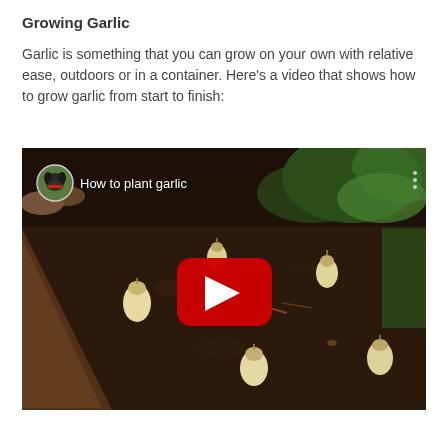Growing Garlic
Garlic is something that you can grow on your own with relative ease, outdoors or in a container. Here’s a video that shows how to grow garlic from start to finish:
[Figure (screenshot): YouTube video thumbnail showing garlic cloves planted in dark soil with green plants in the background. The video is titled 'How to plant garlic' and shows a YouTube play button overlay. A channel icon with a dog image appears in the top left corner.]